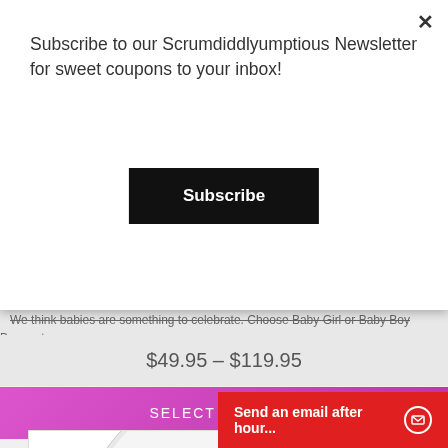Subscribe to our Scrumdiddlyumptious Newsletter for sweet coupons to your inbox!
Subscribe
We think babies are something to celebrate. Choose Baby Girl or Baby Boy Bouquets...
$49.95 – $119.95
SELECT OPTIONS
[Figure (photo): A round balloon with 'Good Luck' text and smiley face designs in colorful letters]
Send an email after hour...